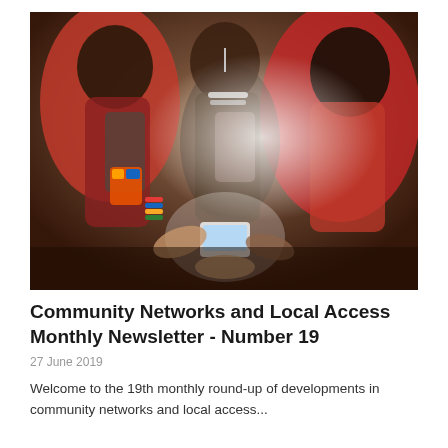[Figure (photo): Group of Maasai people gathered together looking at a mobile phone, wearing traditional colorful clothing and jewelry including beaded necklaces and bracelets]
Community Networks and Local Access Monthly Newsletter - Number 19
27 June 2019
Welcome to the 19th monthly round-up of developments in community networks and local access...